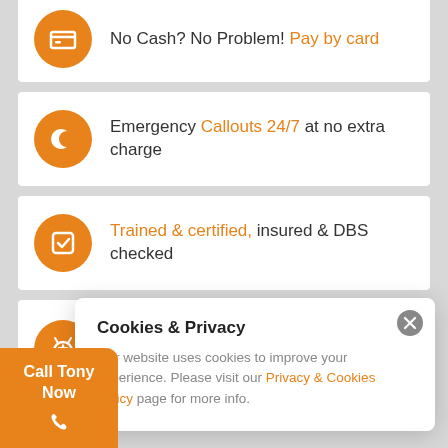No Cash? No Problem! Pay by card
Emergency Callouts 24/7 at no extra charge
Trained & certified, insured & DBS checked
We have over 20 years of industry experience
Cookies & Privacy
Our website uses cookies to improve your experience. Please visit our Privacy & Cookies Policy page for more info.